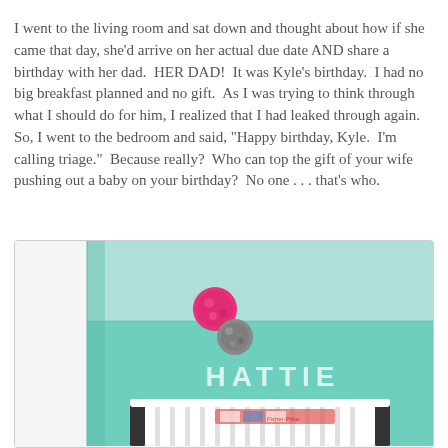I went to the living room and sat down and thought about how if she came that day, she'd arrive on her actual due date AND share a birthday with her dad.  HER DAD!  It was Kyle's birthday.  I had no big breakfast planned and no gift.  As I was trying to think through what I should do for him, I realized that I had leaked through again.   So, I went to the bedroom and said, "Happy birthday, Kyle.  I'm calling triage."  Because really?  Who can top the gift of your wife pushing out a baby on your birthday?  No one . . . that's who.
[Figure (photo): A baby nursery room with mint/teal green walls. Two decorative pom-pom balls (one pink/magenta, one gray) hang on the wall. The name 'HATTIE' is written in white letters on the teal wall. A white crib is partially visible at the bottom of the image.]